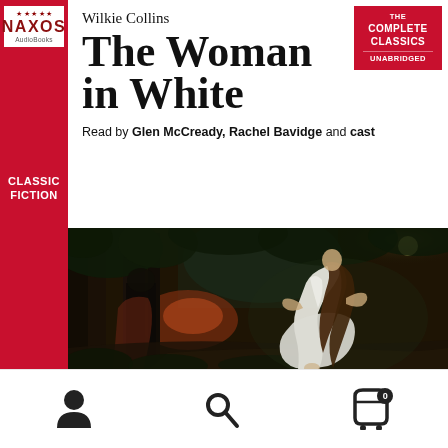[Figure (illustration): Naxos AudioBooks logo — white box with red star pattern and NAXOS in dark red, AudioBooks in white below, on red background bar]
CLASSIC FICTION
Wilkie Collins
The Woman in White
[Figure (logo): THE COMPLETE CLASSICS UNABRIDGED badge in red rectangle top right]
Read by Glen McCready, Rachel Bavidge and cast
[Figure (illustration): Romantic painting of a woman in white dress with long flowing brown hair running through a dark forest with moonlight, a dark figure lurking behind a tree on the left]
[Figure (other): Bottom navigation bar with user/account icon, search icon, and shopping cart icon with badge showing 0]